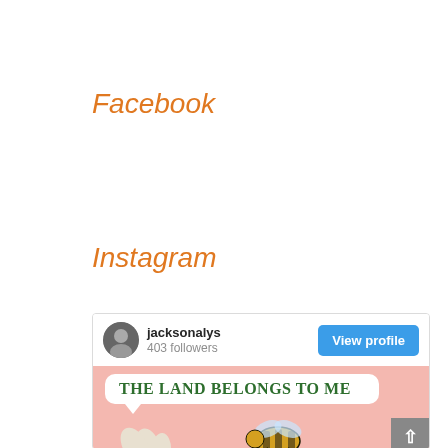Facebook
Instagram
[Figure (screenshot): Instagram profile widget showing jacksonalys account with 403 followers and a View profile button, along with a pink illustrated post image saying 'THE LAND BELONGS TO ME' in green bold text inside a speech bubble]